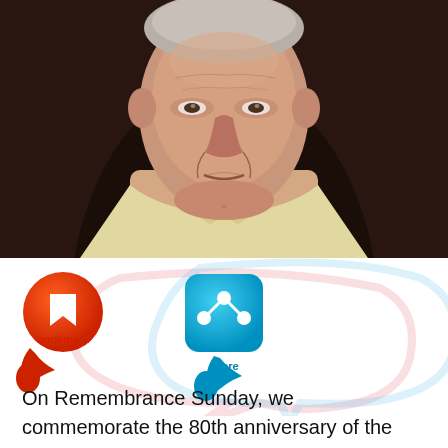[Figure (photo): Close-up photo of an elderly man with white hair wearing a light yellow/cream collared shirt, photographed from chest up against a dark brown background. The man has a neutral expression.]
[Figure (illustration): UI buttons: an orange/red circular bookmark button with a speech bubble tail, and a cyan/blue square share button with a speech bubble tail. Large faint watermark speech bubbles in pink and light blue in the background.]
On Remembrance Sunday, we commemorate the 80th anniversary of the Battle of Hong Kong with a panel